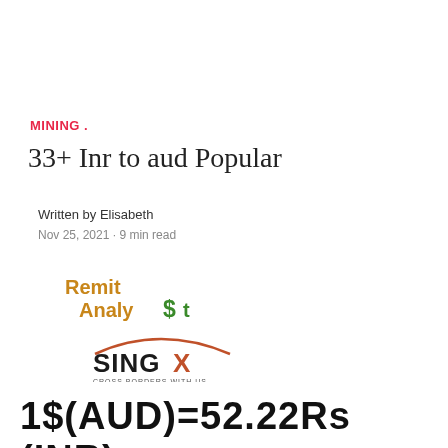MINING .
33+ Inr to aud Popular
Written by Elisabeth
Nov 25, 2021 · 9 min read
[Figure (logo): RemitAnaly$t logo with orange and green text]
[Figure (logo): SingX Cross Borders With Us logo with arc graphic]
1$(AUD)=52.22Rs (INR)